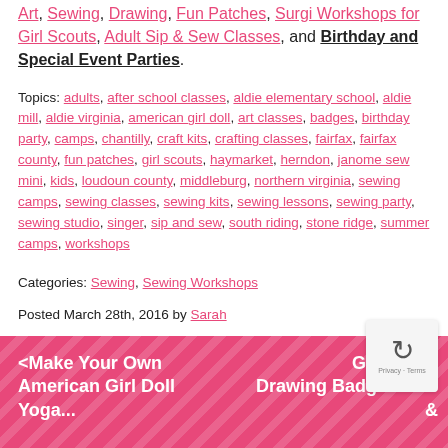and Birthday and Special Event Parties.
Topics: adults, after school classes, aldie elementary school, aldie mill, aldie virginia, american girl doll, art classes, badges, birthday party, camps, chantilly, craft kits, crafting classes, fairfax, fairfax county, fun patches, girl scouts, haymarket, herndon, janome sew mini, kids, loudoun county, middleburg, northern virginia, sewing camps, sewing classes, sewing kits, sewing lessons, sewing party, sewing studio, singer, sip and sew, south riding, stone ridge, summer camps, workshops
Categories: Sewing, Sewing Workshops
Posted March 28th, 2016 by Sarah
< Make Your Own American Girl Doll Yoga...
Girl Scout Drawing Badge Ideas &...